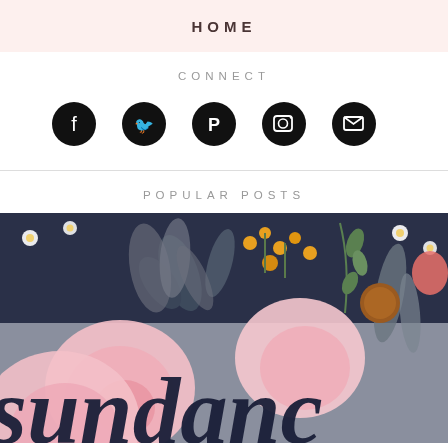HOME
CONNECT
[Figure (illustration): Five social media icons (Facebook, Twitter, Pinterest, Instagram, Email) as white icons on black circles]
POPULAR POSTS
[Figure (illustration): Floral illustration with pink roses, white daisies, orange wildflowers on dark navy and grey background, with cursive text 'sundance' overlaid]